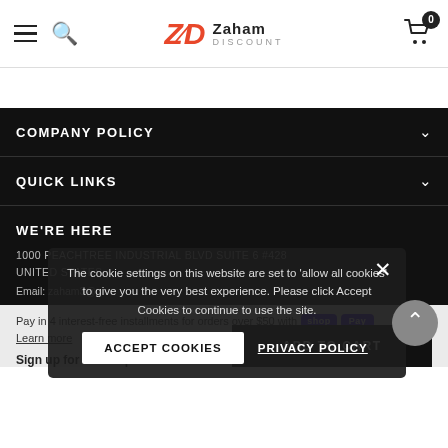Zaham Discount — navigation header with hamburger menu, search icon, logo, and cart (0 items)
COMPANY POLICY
QUICK LINKS
WE'RE HERE
1000 PEACHTREE INDUSTRIAL BLVD SUITE 6 #428
United States
Email: zaham3@...
The cookie settings on this website are set to 'allow all cookies' to give you the very best experience. Please click Accept Cookies to continue to use the site.
Pay in 4 interest-free installments for orders over $50 with shop Pay
Learn more
Sign up for latest updates: